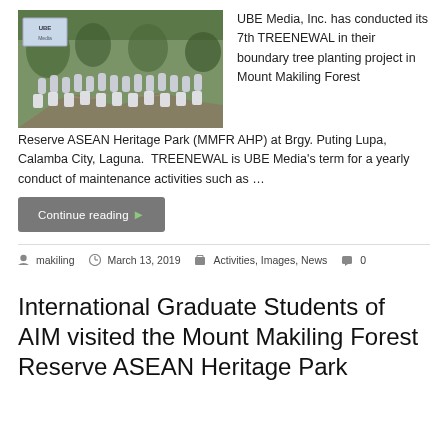[Figure (photo): Group photo of people in white t-shirts gathered outdoors at a tree planting site, with a UBE banner visible at the top left.]
UBE Media, Inc. has conducted its 7th TREENEWAL in their boundary tree planting project in Mount Makiling Forest Reserve ASEAN Heritage Park (MMFR AHP) at Brgy. Puting Lupa, Calamba City, Laguna.  TREENEWAL is UBE Media's term for a yearly conduct of maintenance activities such as …
Continue reading →
makiling   March 13, 2019   Activities, Images, News   0
International Graduate Students of AIM visited the Mount Makiling Forest Reserve ASEAN Heritage Park